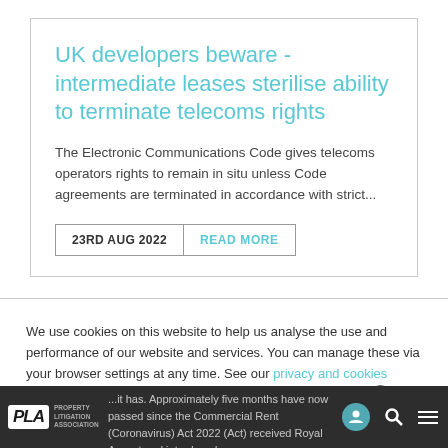UK developers beware - intermediate leases sterilise ability to terminate telecoms rights
The Electronic Communications Code gives telecoms operators rights to remain in situ unless Code agreements are terminated in accordance with strict...
23RD AUG 2022 | READ MORE
We use cookies on this website to help us analyse the use and performance of our website and services. You can manage these via your browser settings at any time. See our privacy and cookies notice for more information.
... it has been approximately five months have now passed since the Commercial Rent (Coronavirus) Act 2022 (Act) received Royal Assent and introduced a...